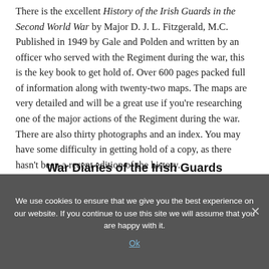There is the excellent History of the Irish Guards in the Second World War by Major D. J. L. Fitzgerald, M.C. Published in 1949 by Gale and Polden and written by an officer who served with the Regiment during the war, this is the key book to get hold of. Over 600 pages packed full of information along with twenty-two maps. The maps are very detailed and will be a great use if you're researching one of the major actions of the Regiment during the war. There are also thirty photographs and an index. You may have some difficulty in getting hold of a copy, as there hasn't been a recent edition of the history.
War Diaries of the Irish Guards
We use cookies to ensure that we give you the best experience on our website. If you continue to use this site we will assume that you are happy with it.
Ok